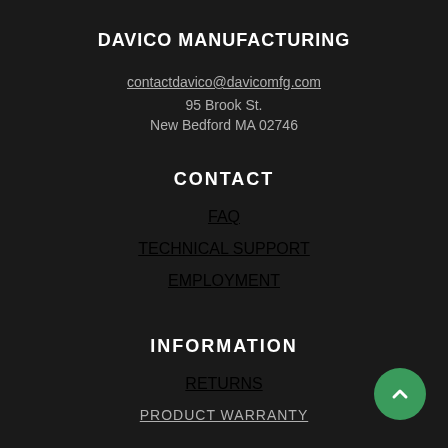DAVICO MANUFACTURING
contactdavico@davicomfg.com
95 Brook St.
New Bedford MA 02746
CONTACT
FAQ
TECHNICAL SUPPORT
EMPLOYMENT
INFORMATION
RETURNS
PRODUCT WARRANTY